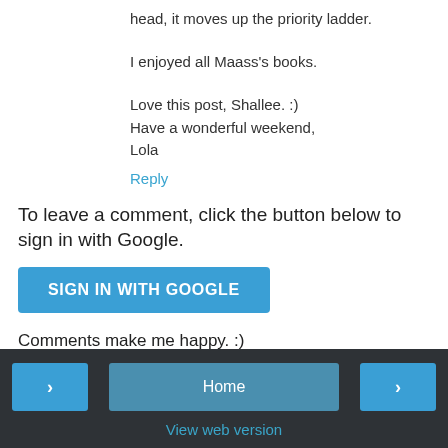head, it moves up the priority ladder.
I enjoyed all Maass's books.
Love this post, Shallee. :)
Have a wonderful weekend,
Lola
Reply
To leave a comment, click the button below to sign in with Google.
SIGN IN WITH GOOGLE
Comments make me happy. :)
Home
View web version